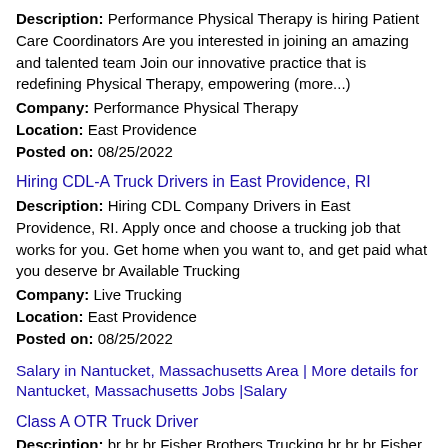Description: Performance Physical Therapy is hiring Patient Care Coordinators Are you interested in joining an amazing and talented team Join our innovative practice that is redefining Physical Therapy, empowering (more...)
Company: Performance Physical Therapy
Location: East Providence
Posted on: 08/25/2022
Hiring CDL-A Truck Drivers in East Providence, RI
Description: Hiring CDL Company Drivers in East Providence, RI. Apply once and choose a trucking job that works for you. Get home when you want to, and get paid what you deserve br Available Trucking
Company: Live Trucking
Location: East Providence
Posted on: 08/25/2022
Salary in Nantucket, Massachusetts Area | More details for Nantucket, Massachusetts Jobs |Salary
Class A OTR Truck Driver
Description: br br br Fisher Brothers Trucking br br br Fisher Brothers Trucking is a nationwide transportation provider with over 20 years experience